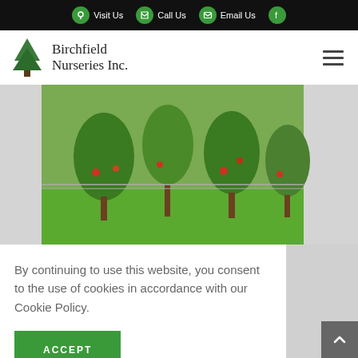Visit Us | Call Us | Email Us | Facebook
[Figure (logo): Birchfield Nurseries Inc. logo with green tree illustration and cursive text]
[Figure (photo): Outdoor nursery scene showing fruit trees with apples in a green grassy area with fencing in background]
By continuing to use this website, you consent to the use of cookies in accordance with our Cookie Policy.
ACCEPT